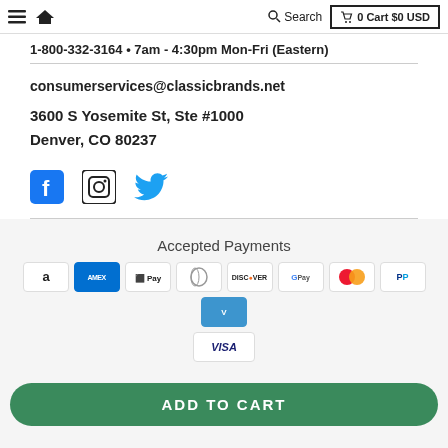≡ 🏠 Search 0 Cart $0 USD
1-800-332-3164 • 7am - 4:30pm Mon-Fri (Eastern)
consumerservices@classicbrands.net
3600 S Yosemite St, Ste #1000
Denver, CO 80237
[Figure (infographic): Social media icons: Facebook, Instagram, Twitter]
Accepted Payments
[Figure (infographic): Payment method icons: Amazon, Amex, Apple Pay, Diners Club, Discover, Google Pay, Mastercard, PayPal, Venmo, Visa]
ADD TO CART